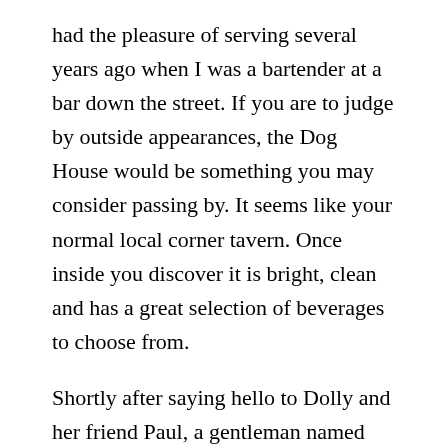had the pleasure of serving several years ago when I was a bartender at a bar down the street. If you are to judge by outside appearances, the Dog House would be something you may consider passing by. It seems like your normal local corner tavern. Once inside you discover it is bright, clean and has a great selection of beverages to choose from.
Shortly after saying hello to Dolly and her friend Paul, a gentleman named Robert who used to work on my car came up to say hi. He was there with his wife Amy, who had read my book A Happy Life for Busy People. Add this to the wonderful folks who were there for the neighborhood meeting and we knew just about everyone. Craig and his wife Robin along with Jon and his wife Mat and everyone else was getting established...